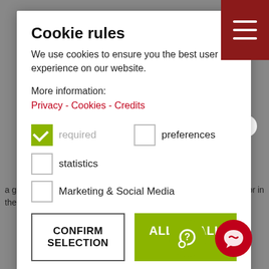Cookie rules
We use cookies to ensure you the best user experience on our website.
More information:
Privacy - Cookies - Credits
required (checked)
preferences (unchecked)
statistics (unchecked)
Marketing & Social Media (unchecked)
CONFIRM SELECTION
ALLOW ALL
Find the answers to the most frequently asked questions
a glitteri... winter sports fans alike will find what they are looking for in the snowy-white world here; while true enthusia...